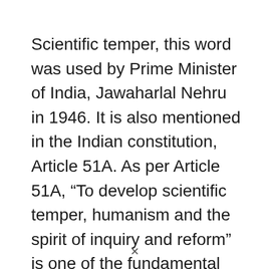Scientific temper, this word was used by Prime Minister of India, Jawaharlal Nehru in 1946. It is also mentioned in the Indian constitution, Article 51A. As per Article 51A, “To develop scientific temper, humanism and the spirit of inquiry and reform” is one of the fundamental duties of the people of India. The Scientific is … Read more